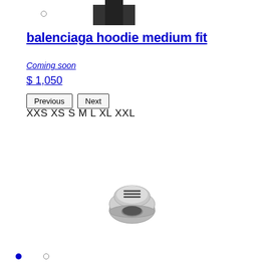[Figure (photo): Thumbnail image of a dark hoodie at top of page]
balenciaga hoodie medium fit
Coming soon
$ 1,050
Previous  Next
XXS XS S M L XL XXL
[Figure (photo): Silver ring with stripe detailing on top face]
● ○